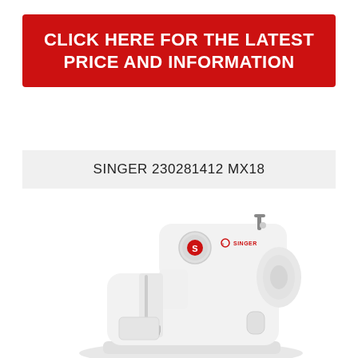CLICK HERE FOR THE LATEST PRICE AND INFORMATION
SINGER 230281412 MX18
[Figure (photo): White SINGER MX18 sewing machine on white background, showing stitch selector dial with Singer logo in red, presser foot, needle area, and rounded body design]